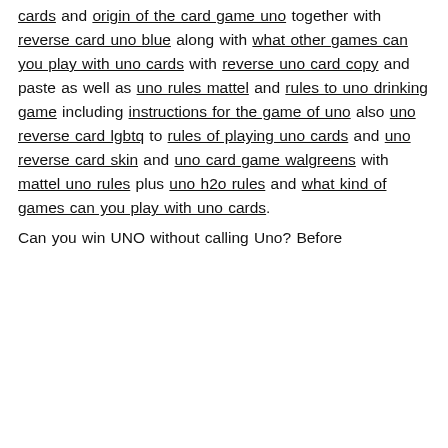cards and origin of the card game uno together with reverse card uno blue along with what other games can you play with uno cards with reverse uno card copy and paste as well as uno rules mattel and rules to uno drinking game including instructions for the game of uno also uno reverse card lgbtq to rules of playing uno cards and uno reverse card skin and uno card game walgreens with mattel uno rules plus uno h2o rules and what kind of games can you play with uno cards.
Can you win UNO without calling Uno? Before